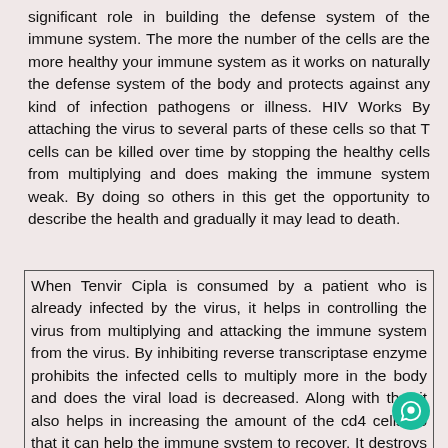significant role in building the defense system of the immune system. The more the number of the cells are the more healthy your immune system as it works on naturally the defense system of the body and protects against any kind of infection pathogens or illness. HIV Works By attaching the virus to several parts of these cells so that T cells can be killed over time by stopping the healthy cells from multiplying and does making the immune system weak. By doing so others in this get the opportunity to describe the health and gradually it may lead to death.
When Tenvir Cipla is consumed by a patient who is already infected by the virus, it helps in controlling the virus from multiplying and attacking the immune system from the virus. By inhibiting reverse transcriptase enzyme prohibits the infected cells to multiply more in the body and does the viral load is decreased. Along with that it also helps in increasing the amount of the cd4 cells so that it can help the immune system to recover. It destroys the reverse transcriptase and increases the amount of the cd4 c... The more the increase the number of cells is the healthier